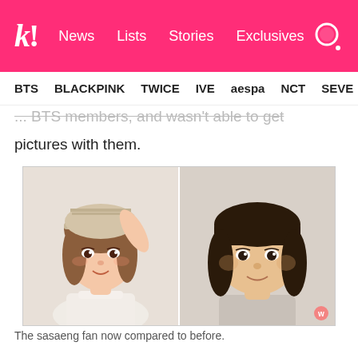k! News  Lists  Stories  Exclusives
BTS  BLACKPINK  TWICE  IVE  aespa  NCT  SEVE
... BTS members, and wasn't able to get pictures with them.
[Figure (photo): Side-by-side comparison photos: left shows a young woman with light makeup wearing a beige cap and tank top; right shows a younger-looking person with bangs and a rounder face. A Weibo watermark appears in the bottom right corner.]
The sasaeng fan now compared to before.